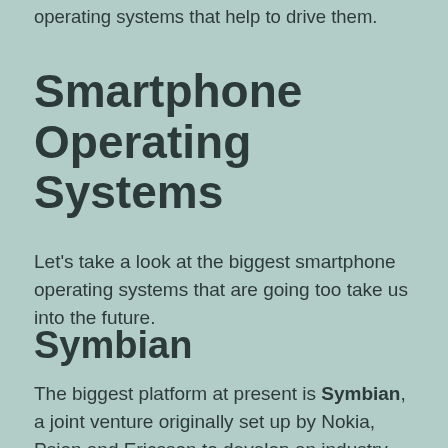understand them you need to look at the operating systems that help to drive them.
Smartphone Operating Systems
Let's take a look at the biggest smartphone operating systems that are going too take us into the future.
Symbian
The biggest platform at present is Symbian, a joint venture originally set up by Nokia, Psion and Ericsson to develop an industry standard